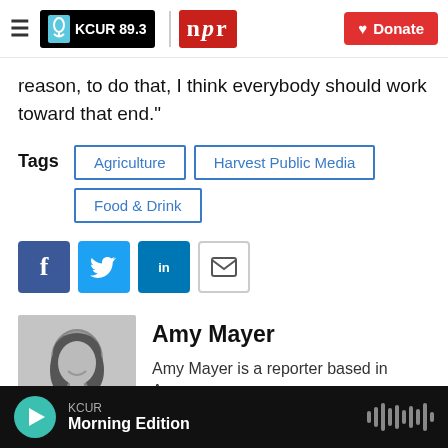KCUR 89.3 | npr | Donate
reason, to do that, I think everybody should work toward that end.”
Tags: Agriculture | Harvest Public Media | Food & Drink
[Figure (infographic): Social sharing buttons: Facebook, Twitter, LinkedIn, Email]
[Figure (photo): Black and white headshot photo of Amy Mayer, a woman with shoulder length hair, smiling]
Amy Mayer
Amy Mayer is a reporter based in Ames.
KCUR Morning Edition (audio player bar)